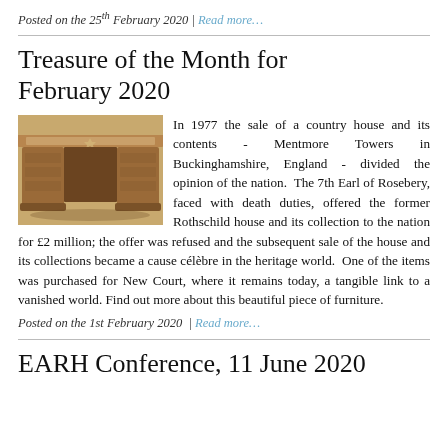Posted on the 25th February 2020 | Read more…
Treasure of the Month for February 2020
[Figure (photo): Antique wooden desk/writing table with ornate carved legs, brown wood, viewed from a three-quarter angle]
In 1977 the sale of a country house and its contents - Mentmore Towers in Buckinghamshire, England - divided the opinion of the nation.  The 7th Earl of Rosebery, faced with death duties, offered the former Rothschild house and its collection to the nation for £2 million; the offer was refused and the subsequent sale of the house and its collections became a cause célèbre in the heritage world.  One of the items was purchased for New Court, where it remains today, a tangible link to a vanished world. Find out more about this beautiful piece of furniture.
Posted on the 1st February 2020 | Read more…
EARH Conference, 11 June 2020